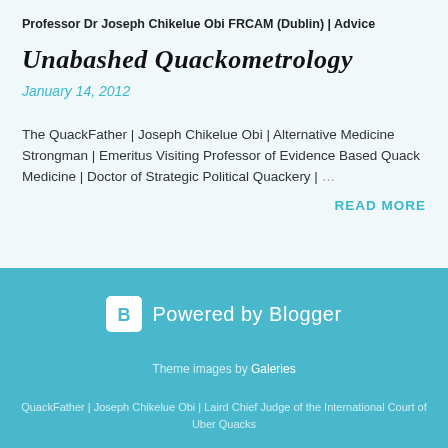Professor Dr Joseph Chikelue Obi FRCAM (Dublin) | Advice
Unabashed Quackometrology
January 14, 2012
The QuackFather | Joseph Chikelue Obi | Alternative Medicine Strongman | Emeritus Visiting Professor of Evidence Based Quack Medicine | Doctor of Strategic Political Quackery | …
READ MORE
[Figure (logo): Powered by Blogger badge with white B icon in rounded square]
Theme images by Galeries
QuackFather | Joseph Chikelue Obi | Laird Chief Judge of the International Court of Uber Quacks